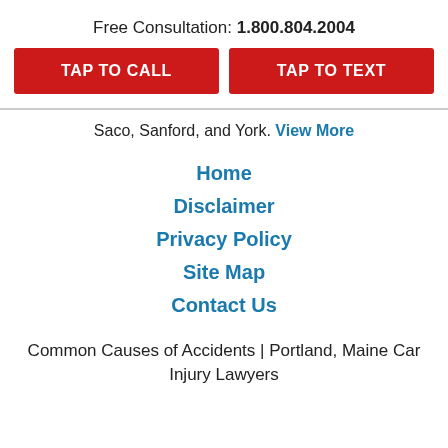Free Consultation: 1.800.804.2004
TAP TO CALL
TAP TO TEXT
Saco, Sanford, and York. View More
Home
Disclaimer
Privacy Policy
Site Map
Contact Us
Common Causes of Accidents | Portland, Maine Car Injury Lawyers